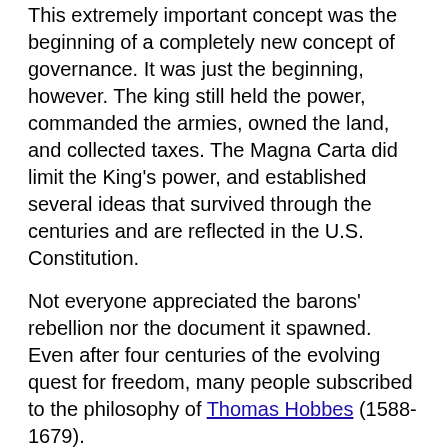This extremely important concept was the beginning of a completely new concept of governance. It was just the beginning, however. The king still held the power, commanded the armies, owned the land, and collected taxes. The Magna Carta did limit the King's power, and established several ideas that survived through the centuries and are reflected in the U.S. Constitution.
Not everyone appreciated the barons' rebellion nor the document it spawned. Even after four centuries of the evolving quest for freedom, many people subscribed to the philosophy of Thomas Hobbes (1588-1679).
Hobbes philosophy is expressed in his book, Leviathan, (1651), in which he describes individuals as being in a constant struggle for power, at war with each other, to take what another person has, or to defend his own possessions from the aggression of others. When left to his own devices, the life of individuals is “solitary, poore, nasty, brutish, and short.”
To make life better for everyone, Hobbes advocated the surrender of individual power and property to an absolute sovereign. Hobbes believed that: